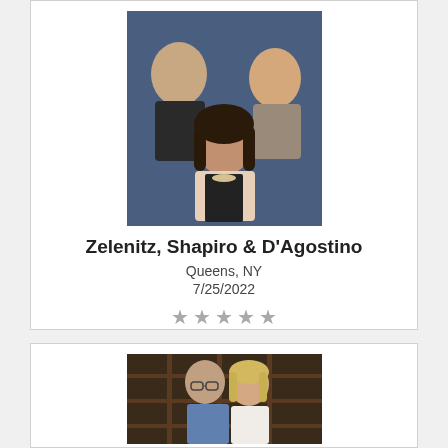[Figure (photo): Group photo of three people (two men and one woman) against a blue background, representing the law firm Zelenitz, Shapiro & D'Agostino]
Zelenitz, Shapiro & D'Agostino
Queens, NY
7/25/2022
★★★★★
[Figure (photo): Photo of a man and a woman smiling together in front of wooden shelving/wine rack background]